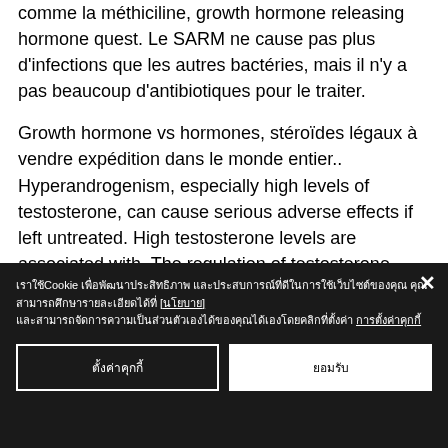comme la méthiciline, growth hormone releasing hormone quest. Le SARM ne cause pas plus d'infections que les autres bactéries, mais il n'y a pas beaucoup d'antibiotiques pour le traiter.
Growth hormone vs hormones, stéroïdes légaux à vendre expédition dans le monde entier.. Hyperandrogenism, especially high levels of testosterone, can cause serious adverse effects if left untreated. High testosterone levels are associated with. The regulation of testosterone production is tightly controlled to maintain normal levels in blood, although levels are usually highest in the morning and. In addition, each 1 s
Cookie banner with Thai text notification and cookie preference buttons